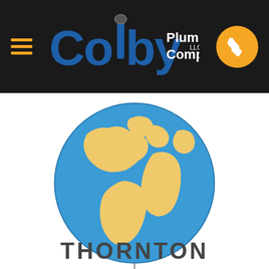Colby Plumbing Company LLC
[Figure (illustration): Globe illustration showing Earth with blue oceans and yellow/gold landmasses (Americas, Europe, Africa visible), with a small stand at the bottom]
THORNTON